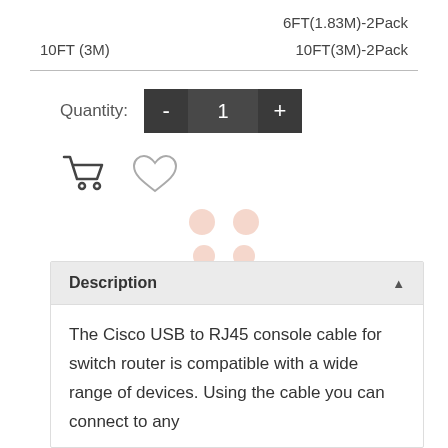6FT(1.83M)-2Pack
10FT (3M)   10FT(3M)-2Pack
Quantity: - 1 +
[Figure (illustration): Shopping cart icon and heart/wishlist icon]
[Figure (illustration): Decorative dots/circles in peach/salmon color]
Description
The Cisco USB to RJ45 console cable for switch router is compatible with a wide range of devices. Using the cable you can connect to any